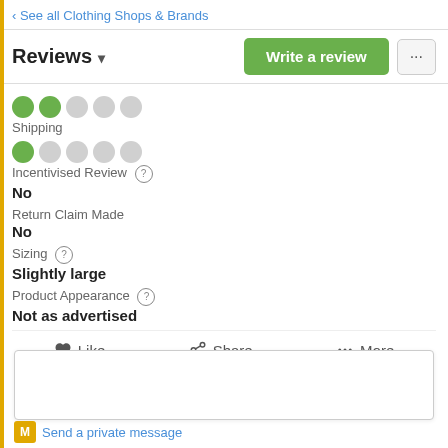‹ See all Clothing Shops & Brands
Reviews ▾
[Figure (other): Two green filled circles and three grey empty circles representing a 2/5 star rating for Shipping]
Shipping
[Figure (other): One green filled circle and four grey empty circles representing a 1/5 star rating for Shipping]
Incentivised Review ?
No
Return Claim Made
No
Sizing ?
Slightly large
Product Appearance ?
Not as advertised
Like   Share   More
Send a private message